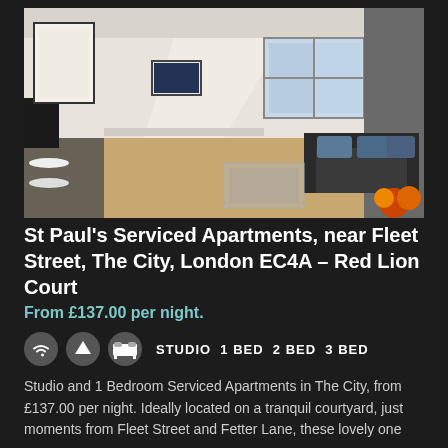[Figure (photo): Interior photo of a serviced apartment living area with sofa, coffee table, dining table, TV, and a window letting in natural light. Light wooden floors, white walls, black furniture.]
St Paul's Serviced Apartments, near Fleet Street, The City, London EC4A – Red Lion Court
From £137.00 per night.
STUDIO 1 BED 2 BED 3 BED
Studio and 1 Bedroom Serviced Apartments in The City, from £137.00 per night. Ideally located on a tranquil courtyard, just moments from Fleet Street and Fetter Lane, these lovely one